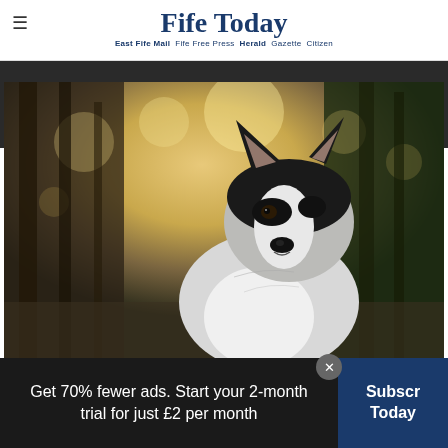Fife Today — East Fife Mail  Fife Free Press  Herald  Gazette  Citizen
[Figure (photo): A Siberian Husky dog sitting in a forest with golden bokeh light background, looking to the left]
Get 70% fewer ads. Start your 2-month trial for just £2 per month
Subscribe Today